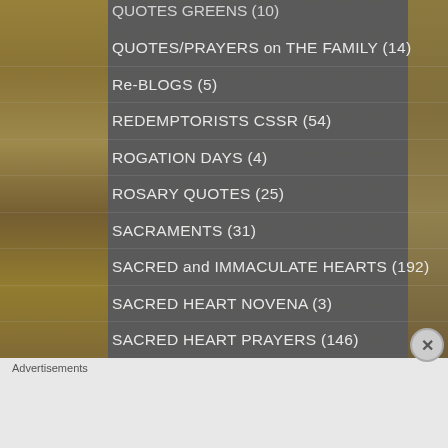QUOTES/PRAYERS on THE FAMILY (14)
Re-BLOGS (5)
REDEMPTORISTS CSSR (54)
ROGATION DAYS (4)
ROSARY QUOTES (25)
SACRAMENTS (31)
SACRED and IMMACULATE HEARTS (192)
SACRED HEART NOVENA (3)
SACRED HEART PRAYERS (146)
SACRED HEART QUOTES (33)
Advertisements
[Figure (photo): MAC cosmetics advertisement showing lipsticks in purple, pink and red colors with MAC logo and SHOP NOW button]